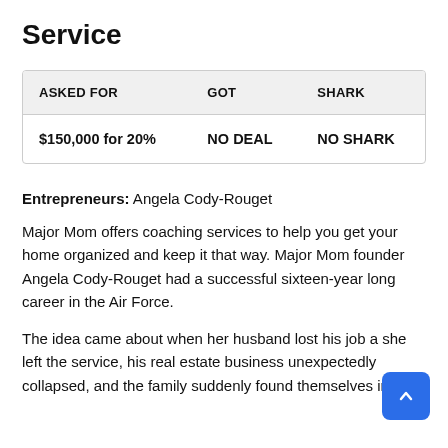Service
| ASKED FOR | GOT | SHARK |
| --- | --- | --- |
| $150,000 for 20% | NO DEAL | NO SHARK |
Entrepreneurs: Angela Cody-Rouget
Major Mom offers coaching services to help you get your home organized and keep it that way. Major Mom founder Angela Cody-Rouget had a successful sixteen-year long career in the Air Force.
The idea came about when her husband lost his job a she left the service, his real estate business unexpectedly collapsed, and the family suddenly found themselves in an